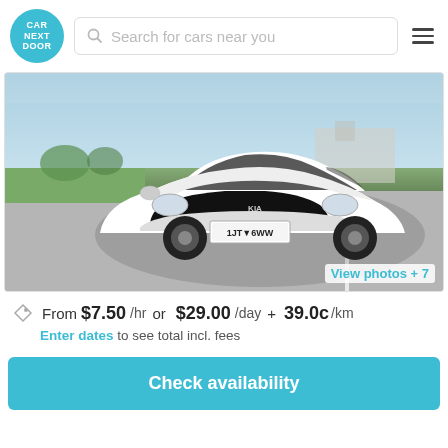CAR NEXT DOOR | Search for cars near you
[Figure (photo): White Kia Picanto small car photographed in a parking area with green grass and buildings in the background. License plate reads 1JT 6WW.]
View photos + 7
From $7.50 /hr or $29.00 /day + 39.0c /km
Enter dates to see total incl. fees
Check availability